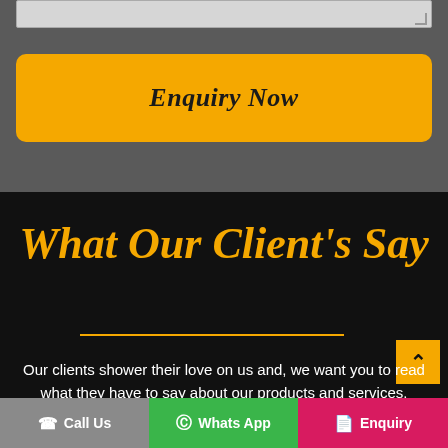[Figure (screenshot): Textarea input box at top of grey section]
Enquiry Now
What Our Client's Say
Our clients shower their love on us and, we want you to read what they have to say about our products and services.
Call Us
Whats App
Enquiry